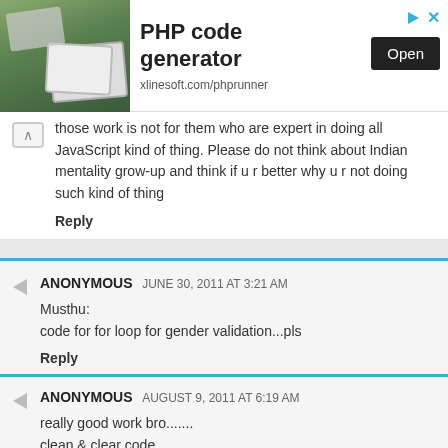[Figure (screenshot): Advertisement banner for PHP code generator with tablet image, Open button, and xlinesoft.com/phprunner URL]
those work is not for them who are expert in doing all JavaScript kind of thing. Please do not think about Indian mentality grow-up and think if u r better why u r not doing such kind of thing
Reply
ANONYMOUS JUNE 30, 2011 AT 3:21 AM
Musthu:
code for for loop for gender validation...pls
Reply
ANONYMOUS AUGUST 9, 2011 AT 6:19 AM
really good work bro.......
clean & clear code.......
using 'this' object was a thums up!!!